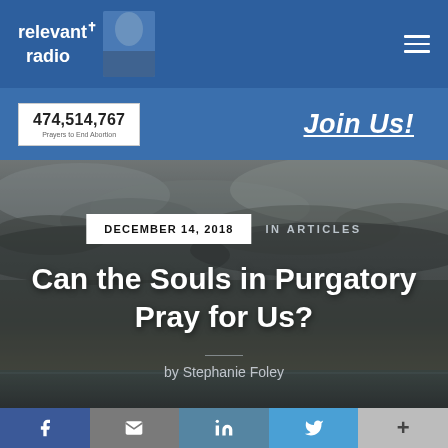[Figure (logo): Relevant Radio logo with cross icon and faded image on blue navbar]
474,514,767
Prayers to End Abortion
Join Us!
[Figure (photo): Hero image with cloudy sky over water background]
DECEMBER 14, 2018
IN ARTICLES
Can the Souls in Purgatory Pray for Us?
by Stephanie Foley
[Figure (infographic): Social sharing bar with Facebook, email, LinkedIn, Twitter, and more buttons]